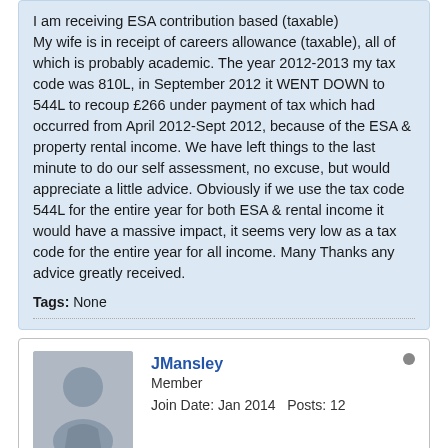I am receiving ESA contribution based (taxable) My wife is in receipt of careers allowance (taxable), all of which is probably academic. The year 2012-2013 my tax code was 810L, in September 2012 it WENT DOWN to 544L to recoup £266 under payment of tax which had occurred from April 2012-Sept 2012, because of the ESA & property rental income. We have left things to the last minute to do our self assessment, no excuse, but would appreciate a little advice. Obviously if we use the tax code 544L for the entire year for both ESA & rental income it would have a massive impact, it seems very low as a tax code for the entire year for all income. Many Thanks any advice greatly received.
Tags: None
JMansley
Member
Join Date: Jan 2014   Posts: 12
23-01-2014, 15:09 PM
#2
I'm not really sure what your question is!